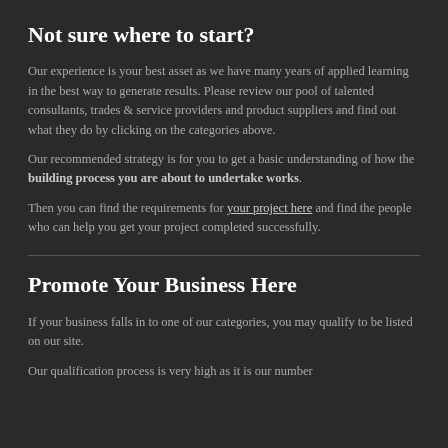Not sure where to start?
Our experience is your best asset as we have many years of applied learning in the best way to generate results. Please review our pool of talented consultants, trades & service providers and product suppliers and find out what they do by clicking on the categories above.
Our recommended strategy is for you to get a basic understanding of how the building process you are about to undertake works.
Then you can find the requirements for your project here and find the people who can help you get your project completed successfully.
Promote Your Business Here
If your business falls in to one of our categories, you may qualify to be listed on our site.
Our qualification process is very high as it is our number